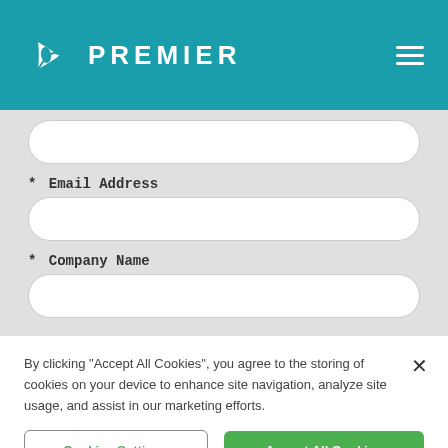[Figure (logo): Premier company logo with teal background, white triangular arrow icon and PREMIER text in white]
* Email Address
* Company Name
By clicking “Accept All Cookies”, you agree to the storing of cookies on your device to enhance site navigation, analyze site usage, and assist in our marketing efforts.
Cookies Settings
Accept All Cookies